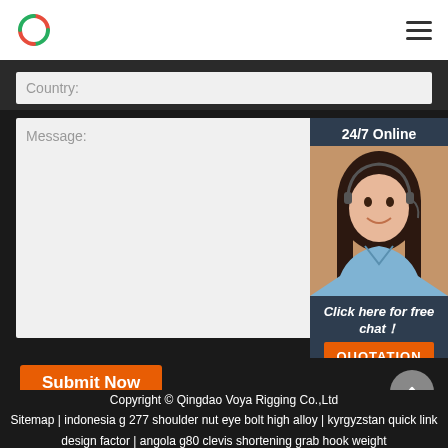[Figure (logo): Circular logo with red and green half-circles]
[Figure (illustration): Hamburger menu icon (three horizontal lines)]
Country:
Message:
[Figure (photo): 24/7 Online customer service representative — woman with headset smiling, with 'Click here for free chat!' text and QUOTATION button]
Submit Now
Copyright © Qingdao Voya Rigging Co.,Ltd
Sitemap | indonesia g 277 shoulder nut eye bolt high alloy | kyrgyzstan quick link design factor | angola g80 clevis shortening grab hook weight